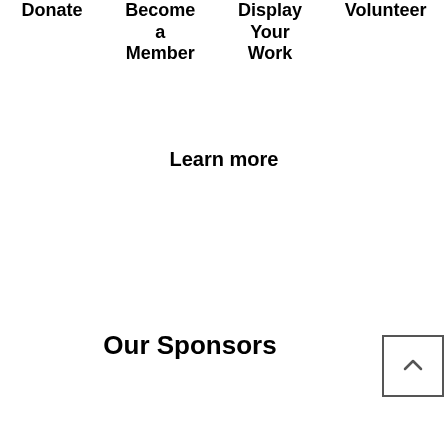Donate
Become a Member
Display Your Work
Volunteer
Learn more
Our Sponsors